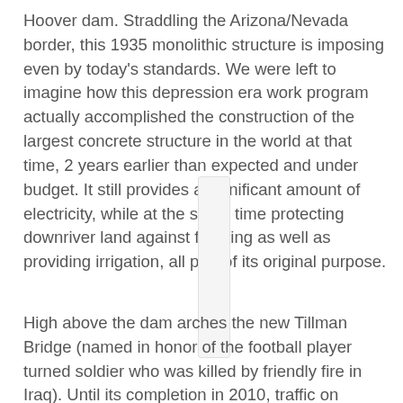Hoover dam. Straddling the Arizona/Nevada border, this 1935 monolithic structure is imposing even by today's standards. We were left to imagine how this depression era work program actually accomplished the construction of the largest concrete structure in the world at that time, 2 years earlier than expected and under budget. It still provides a significant amount of electricity, while at the same time protecting downriver land against flooding as well as providing irrigation, all part of its original purpose.
[Figure (photo): A narrow vertical image placeholder, likely a photo of the Hoover Dam or related structure.]
High above the dam arches the new Tillman Bridge (named in honor of the football player turned soldier who was killed by friendly fire in Iraq). Until its completion in 2010, traffic on Highway 93 had been seriously constrained due to post-9/11 security concerns, as well as the road width that traversed